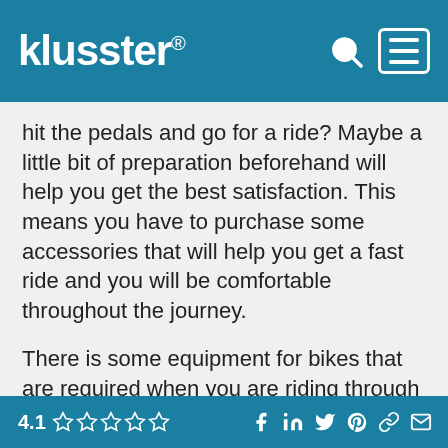klusster®
hit the pedals and go for a ride? Maybe a little bit of preparation beforehand will help you get the best satisfaction. This means you have to purchase some accessories that will help you get a fast ride and you will be comfortable throughout the journey.
There is some equipment for bikes that are required when you are riding through a trail, or normally on the road. If this is your first time with a bike, you need to know the basic accessories for your bicycle.
The First Essentials
A helmet should be the priority before you get the Bike Bottle Cage Bag. Accidents can happen at any
4.1 ☆☆☆☆☆